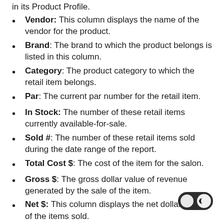in its Product Profile.
Vendor: This column displays the name of the vendor for the product.
Brand: The brand to which the product belongs is listed in this column.
Category: The product category to which the retail item belongs.
Par: The current par number for the retail item.
In Stock: The number of these retail items currently available-for-sale.
Sold #: The number of these retail items sold during the date range of the report.
Total Cost $: The cost of the item for the salon.
Gross $: The gross dollar value of revenue generated by the sale of the item.
Net $: This column displays the net dollar value of the items sold.
Last Sold: The timestamp of both time and day